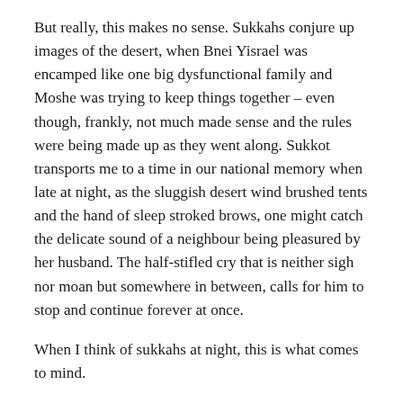But really, this makes no sense. Sukkahs conjure up images of the desert, when Bnei Yisrael was encamped like one big dysfunctional family and Moshe was trying to keep things together – even though, frankly, not much made sense and the rules were being made up as they went along. Sukkot transports me to a time in our national memory when late at night, as the sluggish desert wind brushed tents and the hand of sleep stroked brows, one might catch the delicate sound of a neighbour being pleasured by her husband. The half-stifled cry that is neither sigh nor moan but somewhere in between, calls for him to stop and continue forever at once.
When I think of sukkahs at night, this is what comes to mind.
So, I wonder....When our sukkahs today are guaranteed modesty by garden walls, wrapped tight and secure by